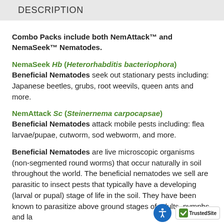DESCRIPTION
Combo Packs include both NemAttack™ and NemaSeek™ Nematodes.
NemaSeek Hb (Heterorhabditis bacteriophora) Beneficial Nematodes seek out stationary pests including: Japanese beetles, grubs, root weevils, queen ants and more.
NemAttack Sc (Steinernema carpocapsae) Beneficial Nematodes attack mobile pests including: flea larvae/pupae, cutworm, sod webworm, and more.
Beneficial Nematodes are live microscopic organisms (non-segmented round worms) that occur naturally in soil throughout the world. The beneficial nematodes we sell are parasitic to insect pests that typically have a developing (larval or pupal) stage of life in the soil. They have been known to parasitize above ground stages of adults, nymphs and la